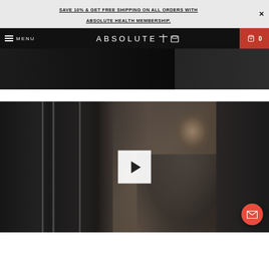SAVE 10% & GET FREE SHIPPING ON ALL ORDERS WITH ABSOLUTE HEALTH MEMBERSHIP.
MENU | ABSOLUTE | 0
[Figure (screenshot): Dark video strip showing a gym environment, partial upper section of a video player]
[Figure (screenshot): Main video thumbnail showing a man in a gym wearing an Absolute Supply HQ t-shirt, with a white play button overlay in the center]
[Figure (other): Red circular email contact button in bottom-right corner]